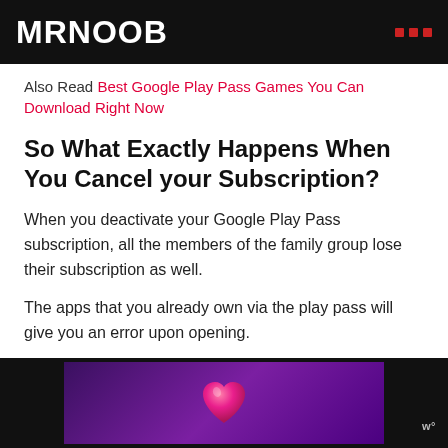MRNOOB
Also Read Best Google Play Pass Games You Can Download Right Now
So What Exactly Happens When You Cancel your Subscription?
When you deactivate your Google Play Pass subscription, all the members of the family group lose their subscription as well.
The apps that you already own via the play pass will give you an error upon opening.
[Figure (illustration): Advertisement banner with purple gradient background and a pink heart emoji icon, with a brand logo in the bottom right corner.]